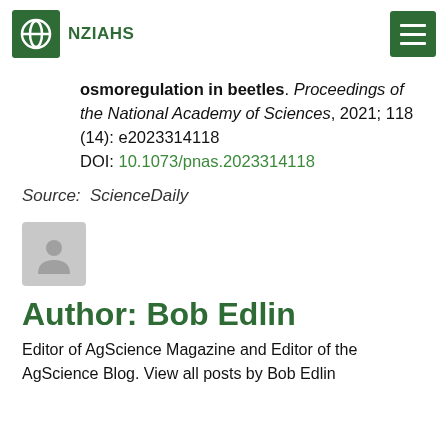NZIAHS
osmoregulation in beetles. Proceedings of the National Academy of Sciences, 2021; 118 (14): e2023314118 DOI: 10.1073/pnas.2023314118
Source:  ScienceDaily
[Figure (illustration): Generic user avatar icon — a silhouette of a person in a grey rounded square]
Author: Bob Edlin
Editor of AgScience Magazine and Editor of the AgScience Blog. View all posts by Bob Edlin